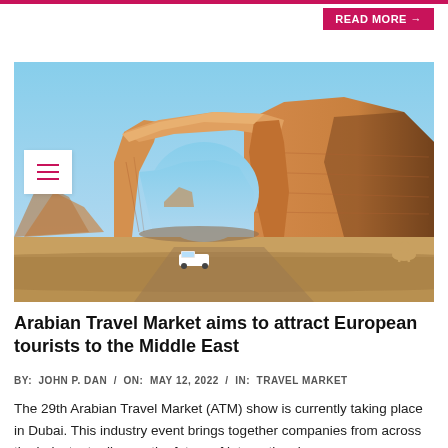READ MORE →
[Figure (photo): Large sandstone elephant rock formation (Jabal AlFil) in Al-Ula desert, Saudi Arabia, with a small white pickup truck on the road below for scale. Clear blue sky in background.]
Arabian Travel Market aims to attract European tourists to the Middle East
BY:  JOHN P. DAN  /  ON:  MAY 12, 2022  /  IN:  TRAVEL MARKET
The 29th Arabian Travel Market (ATM) show is currently taking place in Dubai. This industry event brings together companies from across the industry to discuss the future of international